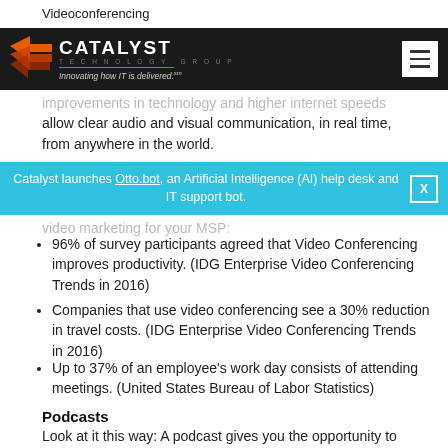Videoconferencing
[Figure (logo): Catalyst Technology Group logo with orange arrow icon and tagline 'Innovating how IT is delivered.' on dark background with hamburger menu button]
improvements in technology and higher internet speeds allow clear audio and visual communication, in real time, from anywhere in the world.
Catalyst launches Otto.bot, an Artificial Intelligence (AI) help desk and IT support bot. [X]
video marketing for your MSP:
96% of survey participants agreed that Video Conferencing improves productivity. (IDG Enterprise Video Conferencing Trends in 2016)
Companies that use video conferencing see a 30% reduction in travel costs. (IDG Enterprise Video Conferencing Trends in 2016)
Up to 37% of an employee's work day consists of attending meetings. (United States Bureau of Labor Statistics)
Podcasts
Look at it this way: A podcast gives you the opportunity to cohesively educate or address a topic you know your